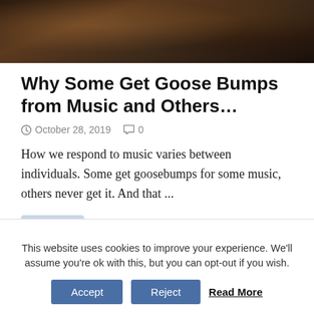[Figure (photo): Dark crowd photo banner at top of page showing silhouettes of people at what appears to be a concert or event]
Why Some Get Goose Bumps from Music and Others…
October 28, 2019  0
How we respond to music varies between individuals. Some get goosebumps for some music, others never get it. And that ...
[Figure (photo): Thumbnail image of a nerve cell or biological cell, appearing blue/purple]
Newfound Nerve Cells Can Help to Sort out Things That
This website uses cookies to improve your experience. We'll assume you're ok with this, but you can opt-out if you wish.